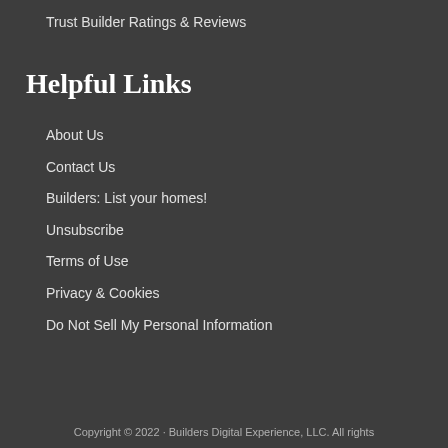Trust Builder Ratings & Reviews
Helpful Links
About Us
Contact Us
Builders: List your homes!
Unsubscribe
Terms of Use
Privacy & Cookies
Do Not Sell My Personal Information
Copyright © 2022 · Builders Digital Experience, LLC. All rights